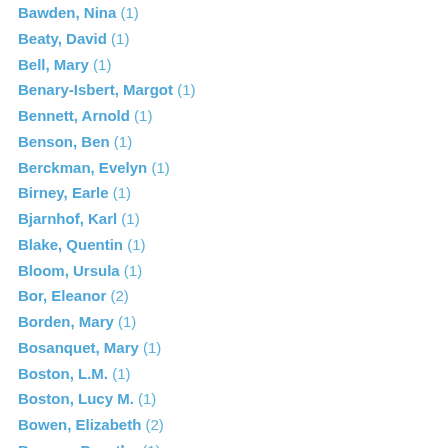Bawden, Nina (1)
Beaty, David (1)
Bell, Mary (1)
Benary-Isbert, Margot (1)
Bennett, Arnold (1)
Benson, Ben (1)
Berckman, Evelyn (1)
Birney, Earle (1)
Bjarnhof, Karl (1)
Blake, Quentin (1)
Bloom, Ursula (1)
Bor, Eleanor (2)
Borden, Mary (1)
Bosanquet, Mary (1)
Boston, L.M. (1)
Boston, Lucy M. (1)
Bowen, Elizabeth (2)
Bowers, Dorothy (1)
Bowling, Tim (2)
Bracken, Peg (1)